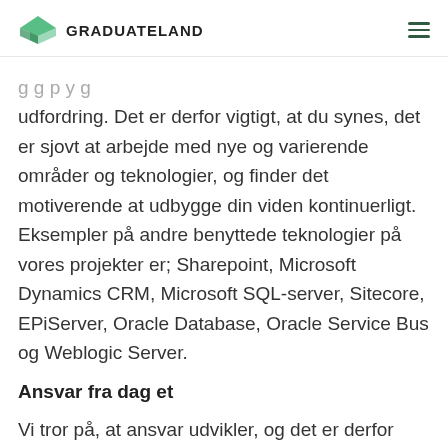GRADUATELAND
udfordring. Det er derfor vigtigt, at du synes, det er sjovt at arbejde med nye og varierende områder og teknologier, og finder det motiverende at udbygge din viden kontinuerligt. Eksempler på andre benyttede teknologier på vores projekter er; Sharepoint, Microsoft Dynamics CRM, Microsoft SQL-server, Sitecore, EPiServer, Oracle Database, Oracle Service Bus og Weblogic Server.
Ansvar fra dag et
Vi tror på, at ansvar udvikler, og det er derfor ikke en tilfældighed, at du - uanset om du er nyuddannet eller erfaren - får tildelt et stort ansvar som